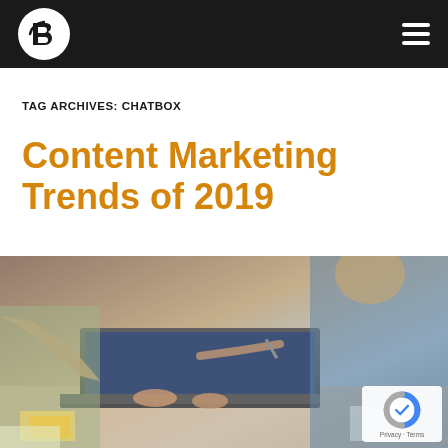B [logo] | hamburger menu
TAG ARCHIVES: CHATBOX
Content Marketing Trends of 2019
[Figure (photo): People collaborating around a laptop at a desk, one person pointing at the screen with a pen, another typing, warm office environment in the background]
[Figure (other): Google reCAPTCHA badge with Privacy · Terms text]